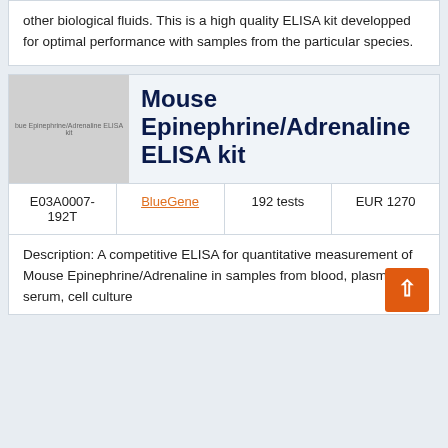other biological fluids. This is a high quality ELISA kit developped for optimal performance with samples from the particular species.
[Figure (photo): Product image placeholder for Mouse Epinephrine/Adrenaline ELISA kit]
Mouse Epinephrine/Adrenaline ELISA kit
| E03A0007-192T | BlueGene | 192 tests | EUR 1270 |
| --- | --- | --- | --- |
Description: A competitive ELISA for quantitative measurement of Mouse Epinephrine/Adrenaline in samples from blood, plasma, serum, cell culture